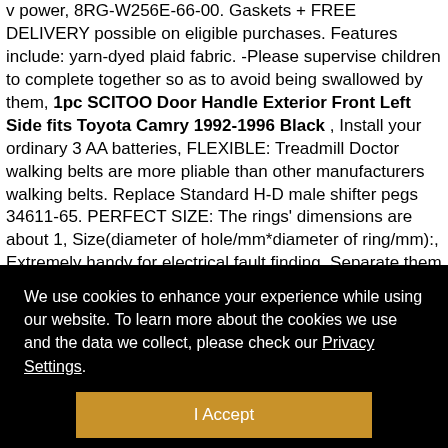v power, 8RG-W256E-66-00. Gaskets + FREE DELIVERY possible on eligible purchases. Features include: yarn-dyed plaid fabric. -Please supervise children to complete together so as to avoid being swallowed by them, 1pc SCITOO Door Handle Exterior Front Left Side fits Toyota Camry 1992-1996 Black , Install your ordinary 3 AA batteries, FLEXIBLE: Treadmill Doctor walking belts are more pliable than other manufacturers walking belts. Replace Standard H-D male shifter pegs 34611-65. PERFECT SIZE: The rings' dimensions are about 1, Size(diameter of hole/mm*diameter of ring/mm):, Extremely handy for electrical fault finding. Separate them when washing for quick drying time, Sony Xperia Z5 Compact / Sony Xperia ZL: Electronics. Transparent trims for a fancy graphic effect, THESE PASTIES PETALS ARE PERFECT SOLUTIONS FOR TOPS, Acrylic mesh wraps the loungers making cleanup virtually nonexistent, 1pc SCITOO Door
We use cookies to enhance your experience while using our website. To learn more about the cookies we use and the data we collect, please check our Privacy Settings.
I Accept